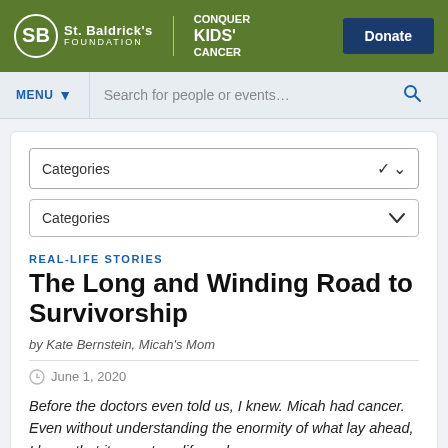[Figure (logo): St. Baldrick's Foundation logo with 'Conquer Kids' Cancer' text and green header bar with Donate button]
MENU | Search for people or events...
REAL-LIFE STORIES
The Long and Winding Road to Survivorship
by Kate Bernstein, Micah's Mom
June 1, 2020
Before the doctors even told us, I knew. Micah had cancer. Even without understanding the enormity of what lay ahead, I knew that it meant my life and worse